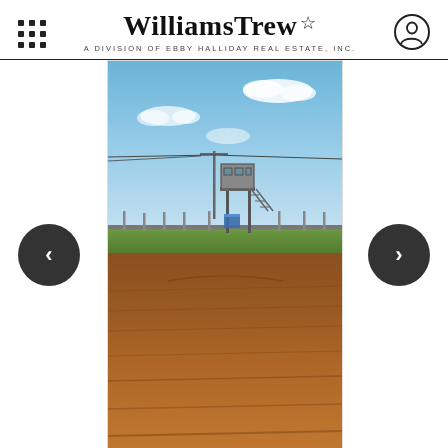WilliamsTrew★ — A DIVISION OF EBBY HALLIDAY REAL ESTATE, INC.
[Figure (photo): Outdoor photo of a baseball/softball field with a dirt infield, a press box tower structure in the background, fencing, and a partly cloudy blue sky. Navigation arrows (prev/next) flank the image.]